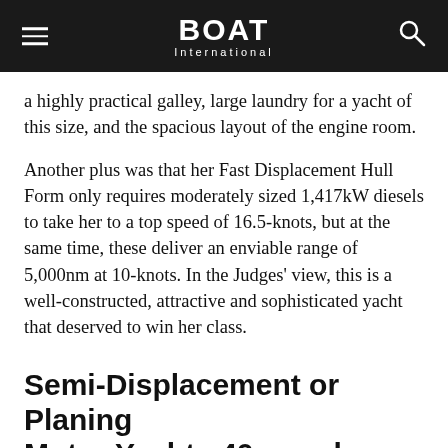BOAT International
a highly practical galley, large laundry for a yacht of this size, and the spacious layout of the engine room.
Another plus was that her Fast Displacement Hull Form only requires moderately sized 1,417kW diesels to take her to a top speed of 16.5-knots, but at the same time, these deliver an enviable range of 5,000nm at 10-knots. In the Judges' view, this is a well-constructed, attractive and sophisticated yacht that deserved to win her class.
Semi-Displacement or Planing Motor Yachts 40m and